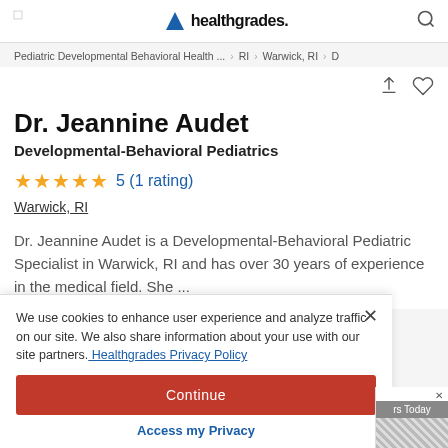healthgrades.
Pediatric Developmental Behavioral Health ... > RI > Warwick, RI >
Dr. Jeannine Audet
Developmental-Behavioral Pediatrics
5 (1 rating)
Warwick, RI
Dr. Jeannine Audet is a Developmental-Behavioral Pediatric Specialist in Warwick, RI and has over 30 years of experience in the medical field. She ...
We use cookies to enhance user experience and analyze traffic on our site. We also share information about your use with our site partners. Healthgrades Privacy Policy
Continue
Access my Privacy